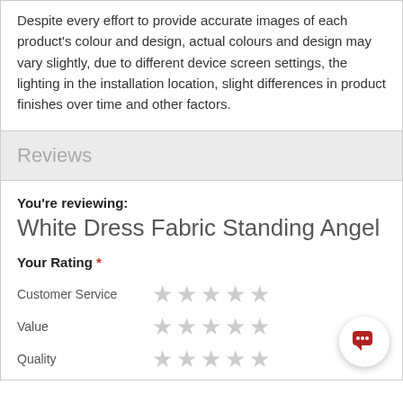Despite every effort to provide accurate images of each product's colour and design, actual colours and design may vary slightly, due to different device screen settings, the lighting in the installation location, slight differences in product finishes over time and other factors.
Reviews
You're reviewing:
White Dress Fabric Standing Angel
Your Rating *
Customer Service  ★ ★ ★ ★ ★
Value  ★ ★ ★ ★ ★
Quality  ★ ★ ★ ★ ★